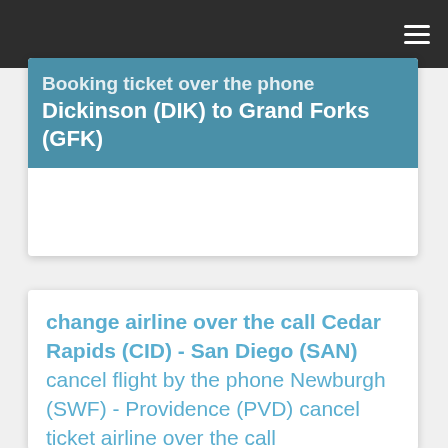≡
Booking ticket over the phone Dickinson (DIK) to Grand Forks (GFK)
change airline over the call Cedar Rapids (CID) - San Diego (SAN) cancel flight by the phone Newburgh (SWF) - Providence (PVD) cancel ticket airline over the call